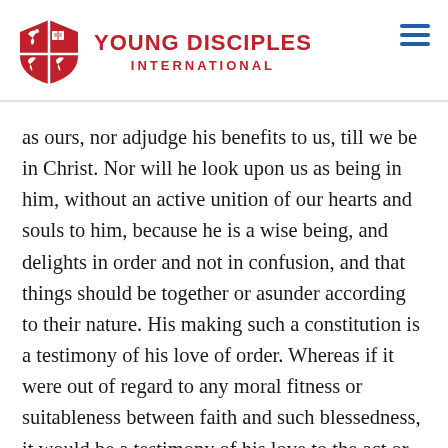Young Disciples International
as ours, nor adjudge his benefits to us, till we be in Christ. Nor will he look upon us as being in him, without an active unition of our hearts and souls to him, because he is a wise being, and delights in order and not in confusion, and that things should be together or asunder according to their nature. His making such a constitution is a testimony of his love of order. Whereas if it were out of regard to any moral fitness or suitableness between faith and such blessedness, it would be a testimony of his love to the act or qualification itself. The one supposes this divine constitution to be a manifestation of God's